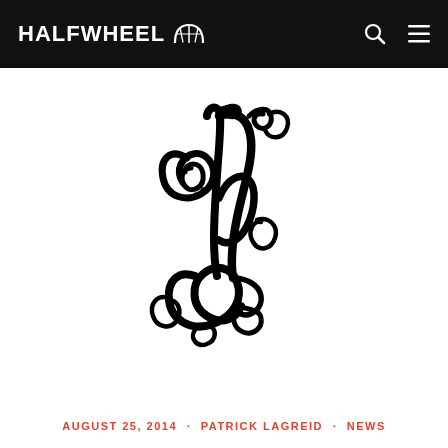HALFWHEEL
[Figure (logo): Decorative ornate monogram logo with swirling cursive letters forming initials, black on white background]
AUGUST 25, 2014 · PATRICK LAGREID · NEWS